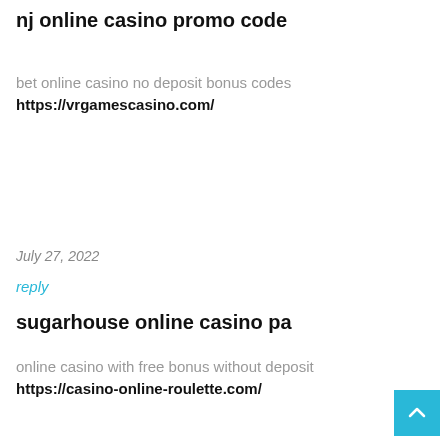nj online casino promo code
bet online casino no deposit bonus codes https://vrgamescasino.com/
July 27, 2022
reply
sugarhouse online casino pa
online casino with free bonus without deposit https://casino-online-roulette.com/